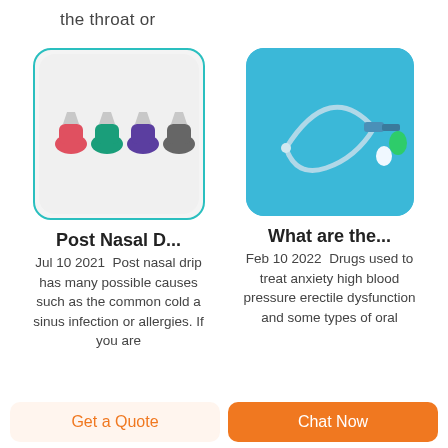the throat or
[Figure (photo): Four colorful nasal/oral devices in a row (red, green, purple, gray) on a light background, inside a rounded rectangle with teal border]
[Figure (photo): Medical catheter tube with connector pieces on a blue background]
Post Nasal D...
Jul 10 2021  Post nasal drip has many possible causes such as the common cold a sinus infection or allergies. If you are
What are the...
Feb 10 2022  Drugs used to treat anxiety high blood pressure erectile dysfunction and some types of oral
Get a Quote
Chat Now